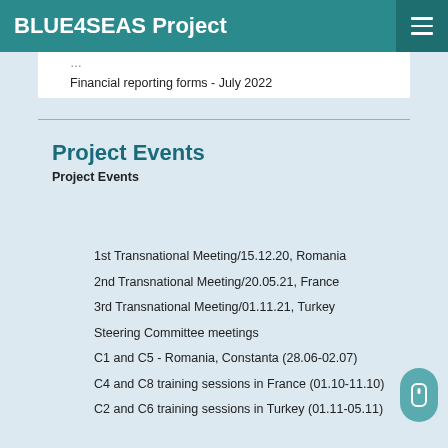BLUE4SEAS Project
Financial reporting forms - July 2022
Project Events
Project Events
1st Transnational Meeting/15.12.20, Romania
2nd Transnational Meeting/20.05.21, France
3rd Transnational Meeting/01.11.21, Turkey
Steering Committee meetings
C1 and C5 - Romania, Constanta (28.06-02.07)
C4 and C8 training sessions in France (01.10-11.10)
C2 and C6 training sessions in Turkey (01.11-05.11)